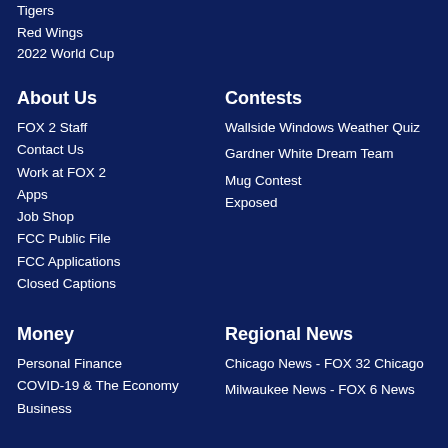Tigers
Red Wings
2022 World Cup
About Us
FOX 2 Staff
Contact Us
Work at FOX 2
Apps
Job Shop
FCC Public File
FCC Applications
Closed Captions
Money
Personal Finance
COVID-19 & The Economy
Business
Contests
Wallside Windows Weather Quiz
Gardner White Dream Team
Mug Contest
Exposed
Regional News
Chicago News - FOX 32 Chicago
Milwaukee News - FOX 6 News